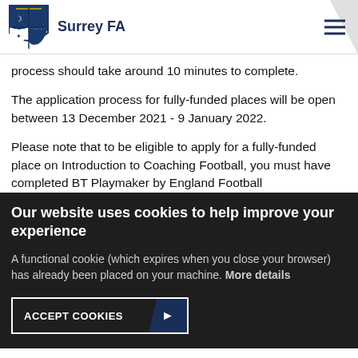Surrey FA
process should take around 10 minutes to complete.
The application process for fully-funded places will be open between 13 December 2021 - 9 January 2022.
Please note that to be eligible to apply for a fully-funded place on Introduction to Coaching Football, you must have completed BT Playmaker by England Football
Our website uses cookies to help improve your experience
A functional cookie (which expires when you close your browser) has already been placed on your machine. More details